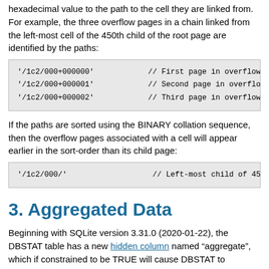hexadecimal value to the path to the cell they are linked from. For example, the three overflow pages in a chain linked from the left-most cell of the 450th child of the root page are identified by the paths:
'/1c2/000+000000'    // First page in overflow cha
'/1c2/000+000001'    // Second page in overflow ch
'/1c2/000+000002'    // Third page in overflow cha
If the paths are sorted using the BINARY collation sequence, then the overflow pages associated with a cell will appear earlier in the sort-order than its child page:
'/1c2/000/'                    // Left-most child of 451st c
3. Aggregated Data
Beginning with SQLite version 3.31.0 (2020-01-22), the DBSTAT table has a new hidden column named "aggregate", which if constrained to be TRUE will cause DBSTAT to generate one row per btree in the database, rather than one row per page. When running in aggregated mode, the "path", "b_content", "idle_overflow_pages" are NULL and the